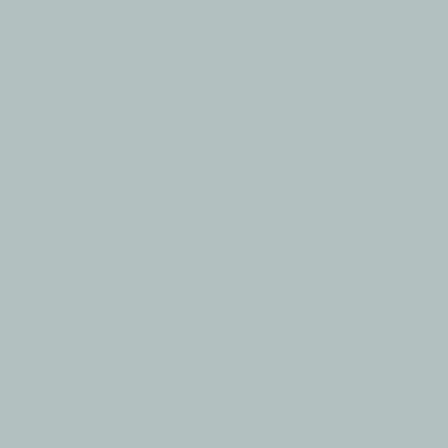[Figure (other): Gray/teal colored rectangular panel on the left side of the page]
We actually don't have an ex swath assembly and separate map or image, plus hairline c let's say the 18th or 19th to b
I've got the Navy animations procedure that isn't worth des platforms. The vector arrows black, they can be selected a that the imagery underneath color to contour up regions o to use a grayscale Ascat rada color schemes.
Arctic maps and imagery in p done very accurately by takin between two features visible Chaunskaya Bay across from the ruins of the Reykjanesviti Pole is not on the intersection be offset to center at coordina layer is brought in, it will nee of the tip of Banks Island).
To overlay Navy Hycom pro